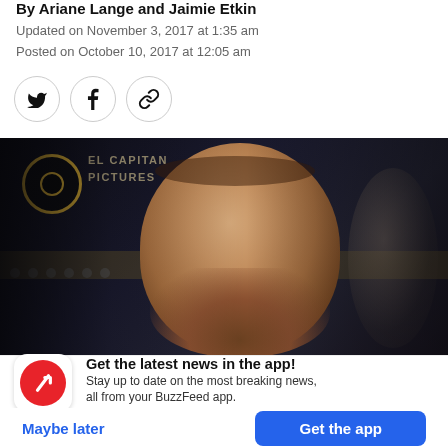By Ariane Lange and Jaimie Etkin
Updated on November 3, 2017 at 1:35 am
Posted on October 10, 2017 at 12:05 am
[Figure (other): Social sharing buttons: Twitter bird icon, Facebook f icon, and link/chain icon, each in a circular border]
[Figure (photo): Close-up photo of Harvey Weinstein against a dark backdrop with logos. He has short grey-brown hair and a beard, wearing dark clothing.]
Get the latest news in the app! Stay up to date on the most breaking news, all from your BuzzFeed app.
Maybe later
Get the app